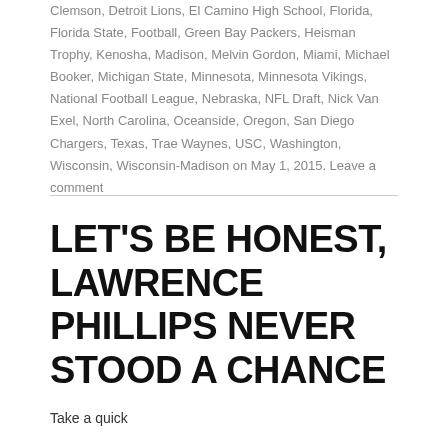Clemson, Detroit Lions, El Camino High School, Florida, Florida State, Football, Green Bay Packers, Heisman Trophy, Kenosha, Madison, Melvin Gordon, Miami, Michael Booker, Michigan State, Minnesota, Minnesota Vikings, National Football League, Nebraska, NFL Draft, Nick Van Exel, North Carolina, Oceanside, Oregon, San Diego Chargers, Texas, Trae Waynes, USC, Washington, Wisconsin, Wisconsin-Madison on May 1, 2015. Leave a comment
LET'S BE HONEST, LAWRENCE PHILLIPS NEVER STOOD A CHANCE
Take a quick